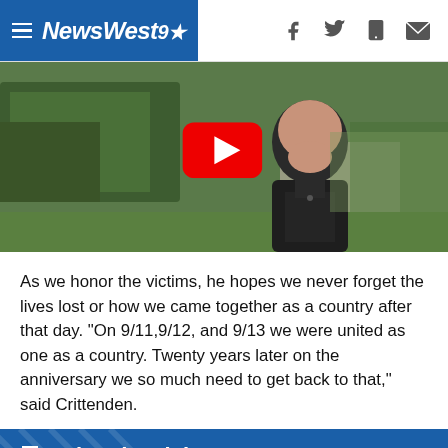NewsWest9
[Figure (screenshot): Video thumbnail showing a man in a dark polo shirt outdoors with green trees and grass in background, with a YouTube play button overlay in the center.]
As we honor the victims, he hopes we never forget the lives lost or how we came together as a country after that day. "On 9/11,9/12, and 9/13 we were united as one as a country. Twenty years later on the anniversary we so much need to get back to that," said Crittenden.
Related Articles
Indiana first responders may host ceremonies and